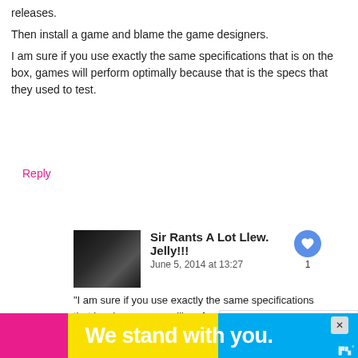releases.
Then install a game and blame the game designers.
I am sure if you use exactly the same specifications that is on the box, games will perform optimally because that is the specs that they used to test.
Reply
Sir Rants A Lot Llew. Jelly!!!
June 5, 2014 at 13:27
“I am sure if you use exactly the same specifications that is on the box, games will perform optimally because that is the specs they used to test.”
Completely incorrect. Sorry I don’t want to soun argumentative but it’s not the case at all.
The problem doesn’t come in with the specs but rather the memory
We stand with you.